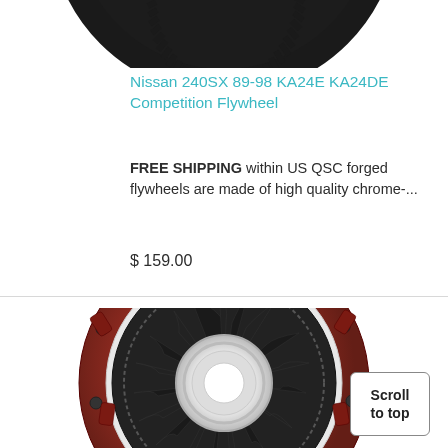[Figure (photo): Top portion of a black toothed flywheel/ring gear, seen from above, on white background]
Nissan 240SX 89-98 KA24E KA24DE Competition Flywheel
FREE SHIPPING within US QSC forged flywheels are made of high quality chrome-...
$ 159.00
[Figure (photo): Red and black automotive clutch pressure plate / clutch cover assembly, viewed from front, circular with radiating springs and fingers]
Scroll to top